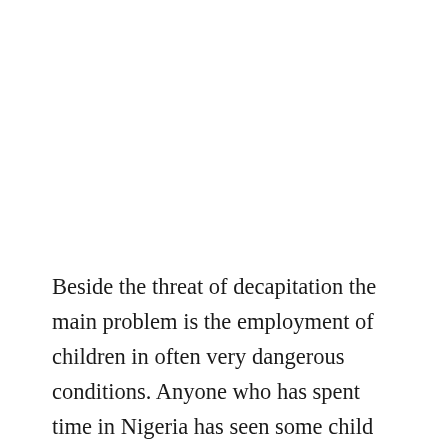Beside the threat of decapitation the main problem is the employment of children in often very dangerous conditions. Anyone who has spent time in Nigeria has seen some child with a